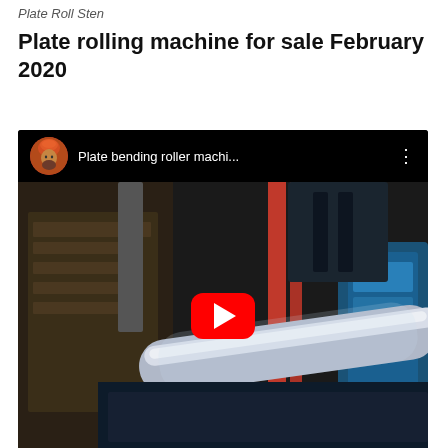Plate Roll Sten
Plate rolling machine for sale February 2020
[Figure (screenshot): YouTube video thumbnail showing a plate bending roller machine in a workshop, with a red YouTube play button overlay. The video title reads 'Plate bending roller machi...' and has a Sikh man avatar in the top-left corner.]